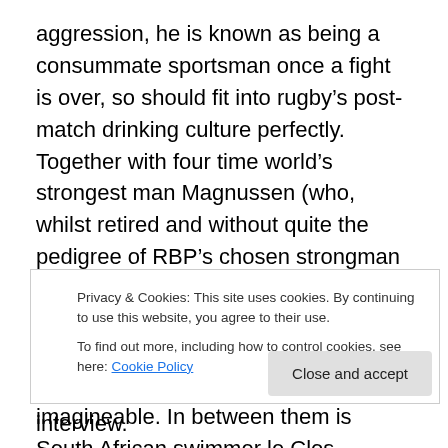aggression, he is known as being a consummate sportsman once a fight is over, so should fit into rugby's post-match drinking culture perfectly. Together with four time world's strongest man Magnussen (who, whilst retired and without quite the pedigree of RBP's chosen strongman Mariusz Pudzianowski, gets a place in the team by virtue of his name alone), they form possibly the hardest and most imposing front row unit imagineable. In between them is South African swimmer le Clos, included for two reasons beyond the natural rugby-playing ability imbued in every native South African. Firstly, being a
Privacy & Cookies: This site uses cookies. By continuing to use this website, you agree to their use. To find out more, including how to control cookies, see here: Cookie Policy
interview.